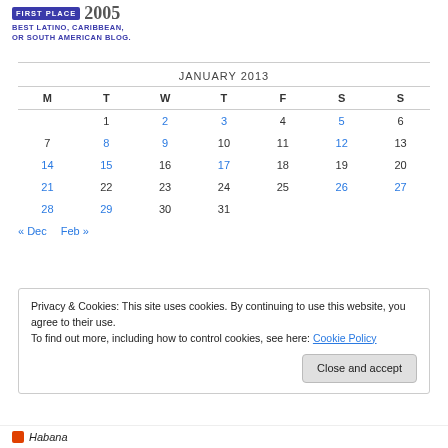[Figure (logo): First Place 2005 Best Latino, Caribbean, or South American Blog badge]
| M | T | W | T | F | S | S |
| --- | --- | --- | --- | --- | --- | --- |
|  | 1 | 2 | 3 | 4 | 5 | 6 |
| 7 | 8 | 9 | 10 | 11 | 12 | 13 |
| 14 | 15 | 16 | 17 | 18 | 19 | 20 |
| 21 | 22 | 23 | 24 | 25 | 26 | 27 |
| 28 | 29 | 30 | 31 |  |  |  |
JANUARY 2013
« Dec   Feb »
Privacy & Cookies: This site uses cookies. By continuing to use this website, you agree to their use.
To find out more, including how to control cookies, see here: Cookie Policy
Close and accept